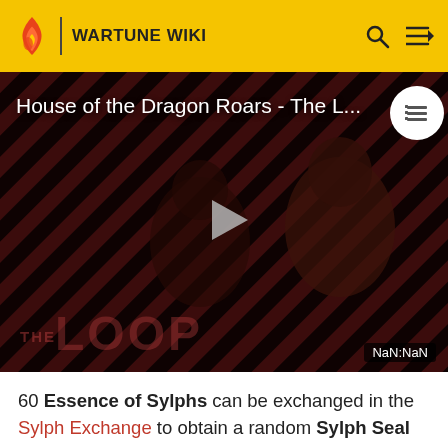WARTUNE WIKI
[Figure (screenshot): Video thumbnail showing 'House of the Dragon Roars - The L...' with THE LOOP branding, dark red diagonal striped background, play button in center, NaN:NaN timestamp, and a circular list icon in top right]
60 Essence of Sylphs can be exchanged in the Sylph Exchange to obtain a random Sylph Seal of the same class. Four types of Sylph Seals are available in the Sylph Exchange: Wind Sylph Seal, Water Sylph Seal, Fire Sylph Seal and Electro Sylph Seal. You do have a chance to get